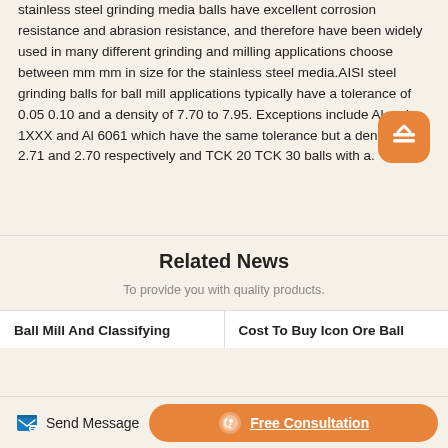stainless steel grinding media balls have excellent corrosion resistance and abrasion resistance, and therefore have been widely used in many different grinding and milling applications choose between mm mm in size for the stainless steel media.AISI steel grinding balls for ball mill applications typically have a tolerance of 0.05 0.10 and a density of 7.70 to 7.95. Exceptions include Al series 1XXX and Al 6061 which have the same tolerance but a density of 2.71 and 2.70 respectively and TCK 20 TCK 30 balls with a.
Related News
To provide you with quality products.
Ball Mill And Classifying
Cost To Buy Icon Ore Ball